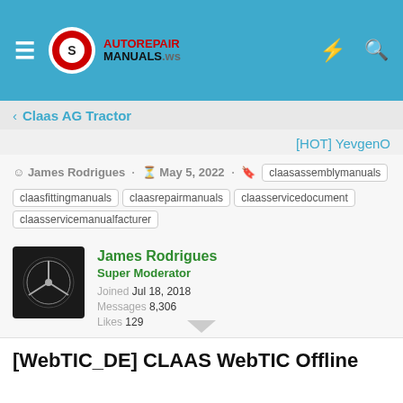[Figure (logo): AutoRepairManuals.ws logo with hamburger menu icon on blue header bar with lightning bolt and search icons]
Claas AG Tractor
[HOT] YevgenO
James Rodrigues · May 5, 2022 · claasassemblymanuals claasfittingmanuals claasrepairmanuals claasservicedocument claasservicemanualfacturer
[Figure (logo): Mercedes-Benz star logo on black square avatar]
James Rodrigues
Super Moderator
Joined Jul 18, 2018
Messages 8,306
Likes 129
[WebTIC_DE] CLAAS WebTIC Offline